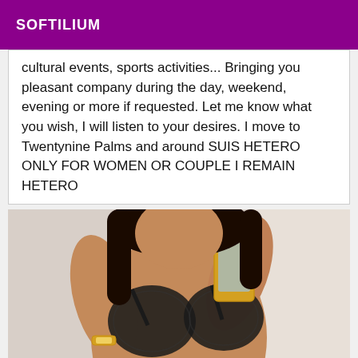SOFTILIUM
cultural events, sports activities... Bringing you pleasant company during the day, weekend, evening or more if requested. Let me know what you wish, I will listen to your desires. I move to Twentynine Palms and around SUIS HETERO ONLY FOR WOMEN OR COUPLE I REMAIN HETERO
[Figure (photo): A person taking a selfie in a mirror wearing black lace lingerie, holding a gold smartphone, wearing a gold watch, with long dark hair.]